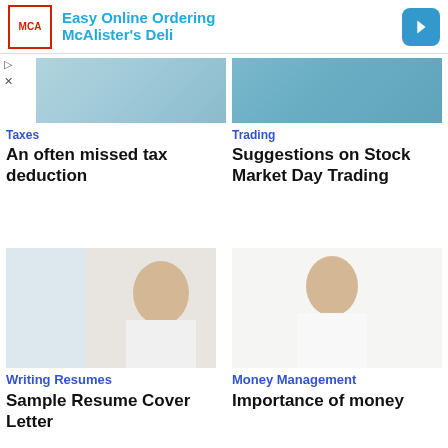[Figure (photo): Advertisement banner: McAlister's Deli Easy Online Ordering logo with blue arrow icon]
[Figure (photo): Partial photo of person in teal/blue background, top of article]
[Figure (photo): Partial photo of person in blue shirt, top of Trading article]
Taxes
An often missed tax deduction
Trading
Suggestions on Stock Market Day Trading
[Figure (photo): Asian woman with long brown hair sitting at desk working, Writing Resumes article]
[Figure (photo): Asian woman in white top with OK hand gesture, Money Management article]
Writing Resumes
Sample Resume Cover Letter
Money Management
Importance of money